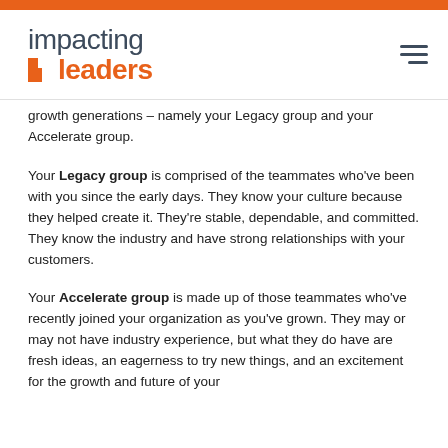[Figure (logo): Impacting Leaders logo with orange bar at top and hamburger menu icon]
growth generations – namely your Legacy group and your Accelerate group.
Your Legacy group is comprised of the teammates who've been with you since the early days. They know your culture because they helped create it. They're stable, dependable, and committed. They know the industry and have strong relationships with your customers.
Your Accelerate group is made up of those teammates who've recently joined your organization as you've grown. They may or may not have industry experience, but what they do have are fresh ideas, an eagerness to try new things, and an excitement for the growth and future of your